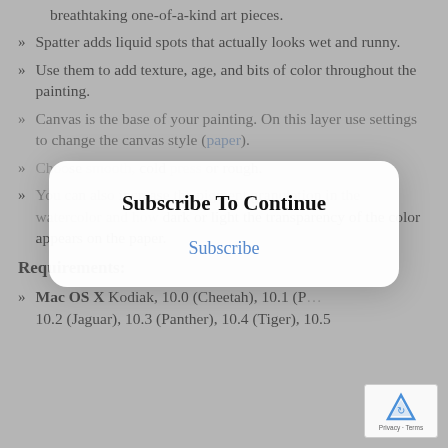breathtaking one-of-a-kind art pieces.
Spatter adds liquid spots that actually looks wet and runny.
Use them to add texture, age, and bits of color throughout the painting.
Canvas is the base of your painting. On this layer use settings to change the canvas style (paper).
Choose [faded] smooth, cold press or rough.
You can also increase the pigment granulation in the watercolor and how dark or light the transparency of the color appears on the paper.
Requirements:
Mac OS X Kodiak, 10.0 (Cheetah), 10.1 (P... 10.2 (Jaguar), 10.3 (Panther), 10.4 (Tiger), 10.5...
[Figure (screenshot): Subscribe To Continue modal overlay with a 'Subscribe' link in blue, overlaid on greyed-out content]